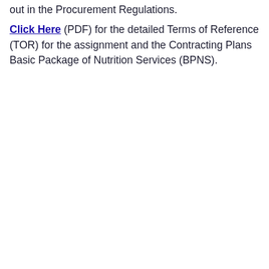out in the Procurement Regulations. Click Here (PDF) for the detailed Terms of Reference (TOR) for the assignment and the Contracting Plans Basic Package of Nutrition Services (BPNS).